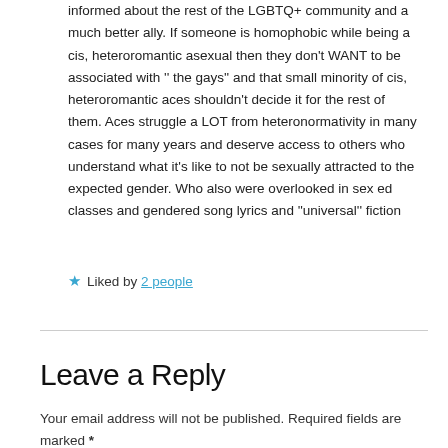informed about the rest of the LGBTQ+ community and a much better ally. If someone is homophobic while being a cis, heteroromantic asexual then they don't WANT to be associated with '' the gays'' and that small minority of cis, heteroromantic aces shouldn't decide it for the rest of them. Aces struggle a LOT from heteronormativity in many cases for many years and deserve access to others who understand what it's like to not be sexually attracted to the expected gender. Who also were overlooked in sex ed classes and gendered song lyrics and ''universal'' fiction
★ Liked by 2 people
Leave a Reply
Your email address will not be published. Required fields are marked *